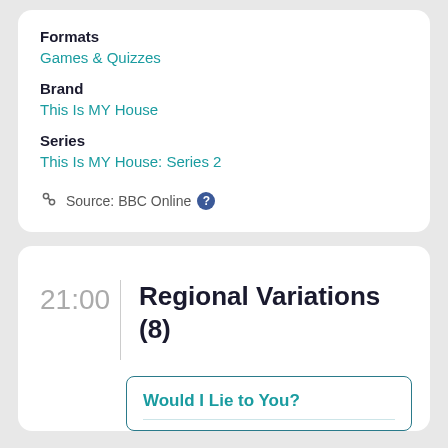Formats
Games & Quizzes
Brand
This Is MY House
Series
This Is MY House: Series 2
Source: BBC Online
21:00
Regional Variations (8)
Would I Lie to You?